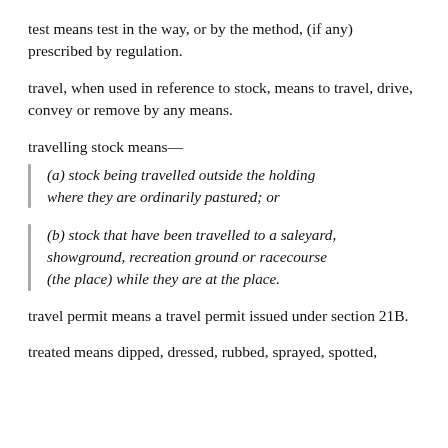test means test in the way, or by the method, (if any) prescribed by regulation.
travel, when used in reference to stock, means to travel, drive, convey or remove by any means.
travelling stock means—
(a) stock being travelled outside the holding where they are ordinarily pastured; or
(b) stock that have been travelled to a saleyard, showground, recreation ground or racecourse (the place) while they are at the place.
travel permit means a travel permit issued under section 21B.
treated means dipped, dressed, rubbed, sprayed, spotted,